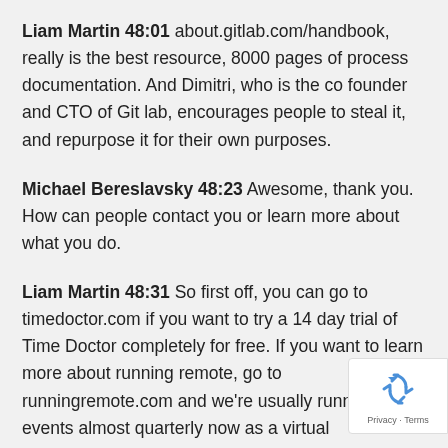Liam Martin 48:01 about.gitlab.com/handbook, really is the best resource, 8000 pages of process documentation. And Dimitri, who is the co founder and CTO of Git lab, encourages people to steal it, and repurpose it for their own purposes.
Michael Bereslavsky 48:23 Awesome, thank you. How can people contact you or learn more about what you do.
Liam Martin 48:31 So first off, you can go to timedoctor.com if you want to try a 14 day trial of Time Doctor completely for free. If you want to learn more about running remote, go to runningremote.com and we're usually running events almost quarterly now as a virtual
[Figure (logo): reCAPTCHA badge with recycling-arrow icon and Privacy · Terms text]